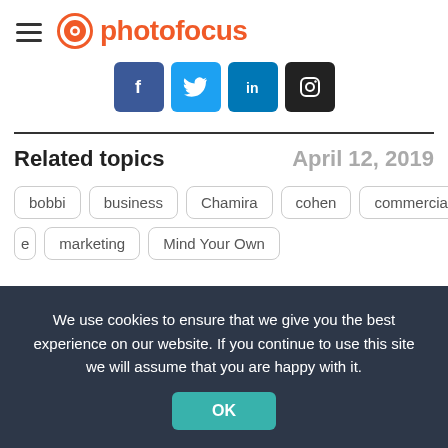photofocus
[Figure (logo): Photofocus logo with hamburger menu icon and orange camera aperture icon followed by 'photofocus' text in orange]
[Figure (infographic): Social media sharing icons: Facebook (blue), Twitter (light blue), LinkedIn (blue), Instagram (black)]
Related topics
April 12, 2019
bobbi
business
Chamira
cohen
commercial
lan
e
marketing
Mind Your Own
We use cookies to ensure that we give you the best experience on our website. If you continue to use this site we will assume that you are happy with it.